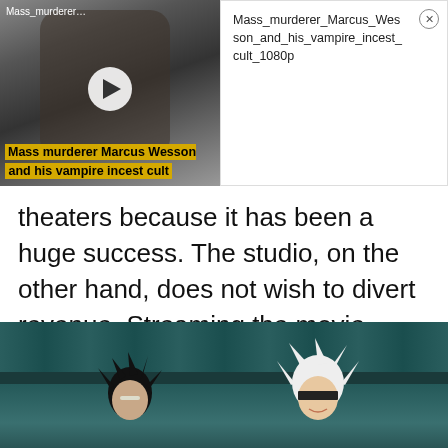[Figure (screenshot): Video thumbnail showing 'Mass murderer Marcus Wesson and his vampire incest cult' with a grayscale photo of a man, play button overlay, and yellow caption bar]
[Figure (screenshot): Ad panel showing text 'Mass_murderer_Marcus_Wesson_and_his_vampire_incest_cult_1080p' with close (X) button]
theaters because it has been a huge success. The studio, on the other hand, does not wish to divert revenue. Streaming the movie would only slash the profits, not increase them.
[Figure (screenshot): Anime screenshot showing two characters with distinctive hair styles against a teal/dark background fence]